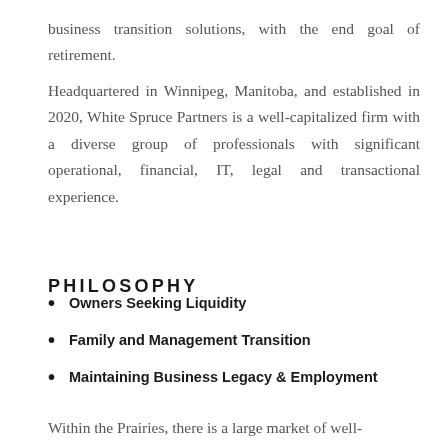business transition solutions, with the end goal of retirement.
Headquartered in Winnipeg, Manitoba, and established in 2020, White Spruce Partners is a well-capitalized firm with a diverse group of professionals with significant operational, financial, IT, legal and transactional experience.
PHILOSOPHY
Owners Seeking Liquidity
Family and Management Transition
Maintaining Business Legacy & Employment
Within the Prairies, there is a large market of well-